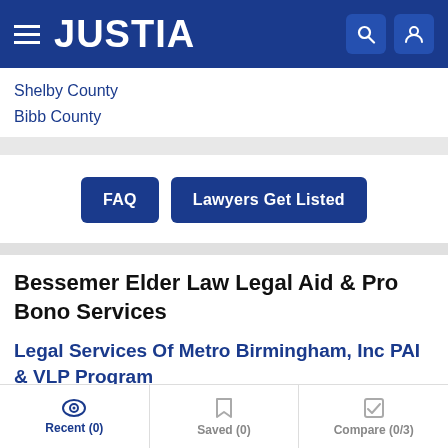JUSTIA
Shelby County
Bibb County
FAQ    Lawyers Get Listed
Bessemer Elder Law Legal Aid & Pro Bono Services
Legal Services Of Metro Birmingham, Inc PAI & VLP Program
(800) 819-7685
Birmingham, AL
Recent (0)    Saved (0)    Compare (0/3)